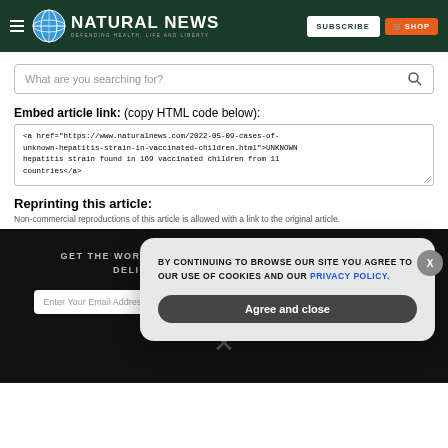Natural News — DEFENDING HEALTH, LIFE AND LIBERTY
What are you searching for?
Embed article link: (copy HTML code below):
<a href="https://www.naturalnews.com/2022-05-09-cases-of-unknown-hepatitis-strain-in-vaccinated-children.html">UNKNOWN hepatitis strain found in 169 vaccinated children from 11 countries</a>
Reprinting this article:
GET THE WORLD'S BEST NATURAL HEALTH NEWSLETTER DELIVERED STRAIGHT TO YOUR INBOX
Enter Your Email Address
BY CONTINUING TO BROWSE OUR SITE YOU AGREE TO OUR USE OF COOKIES AND OUR PRIVACY POLICY.
Agree and close